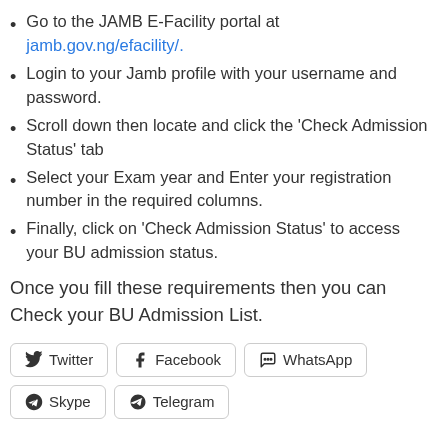Go to the JAMB E-Facility portal at jamb.gov.ng/efacility/.
Login to your Jamb profile with your username and password.
Scroll down then locate and click the 'Check Admission Status' tab
Select your Exam year and Enter your registration number in the required columns.
Finally, click on 'Check Admission Status' to access your BU admission status.
Once you fill these requirements then you can Check your BU Admission List.
Twitter  Facebook  WhatsApp  Skype  Telegram